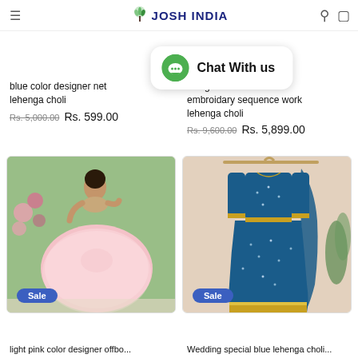JOSH INDIA
Chat With us
blue color designer net lehenga choli
Rs. 5,000.00  Rs. 599.00
designer embroidary sequence work lehenga choli
Rs. 9,600.00  Rs. 5,899.00
[Figure (photo): Woman in light pink designer lehenga choli with Sale badge]
[Figure (photo): Blue sequin designer lehenga choli on hanger with Sale badge]
light pink color designer offbo...
Wedding special blue lehenga choli...